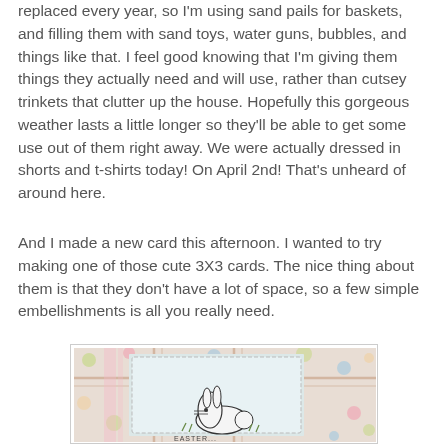replaced every year, so I'm using sand pails for baskets, and filling them with sand toys, water guns, bubbles, and things like that. I feel good knowing that I'm giving them things they actually need and will use, rather than cutsey trinkets that clutter up the house. Hopefully this gorgeous weather lasts a little longer so they'll be able to get some use out of them right away. We were actually dressed in shorts and t-shirts today! On April 2nd! That's unheard of around here.
And I made a new card this afternoon. I wanted to try making one of those cute 3X3 cards. The nice thing about them is that they don't have a lot of space, so a few simple embellishments is all you really need.
[Figure (photo): A handmade 3x3 Easter card featuring a polka dot and plaid patterned background with a white stamp-style card in the center. The stamp card has scalloped edges and features a simple black ink bunny rabbit illustration. The bunny is sitting in grass. Below the bunny there appears to be text partially visible.]